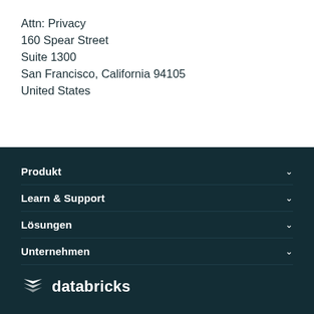Attn: Privacy
160 Spear Street
Suite 1300
San Francisco, California 94105
United States
Produkt
Learn & Support
Lösungen
Unternehmen
[Figure (logo): Databricks logo with stacked layers icon and 'databricks' wordmark in white on dark teal background]